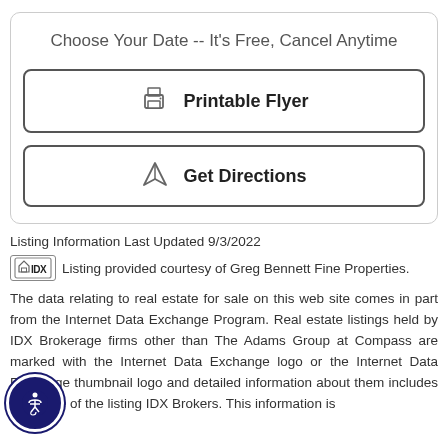Choose Your Date -- It's Free, Cancel Anytime
Printable Flyer
Get Directions
Listing Information Last Updated 9/3/2022
Listing provided courtesy of Greg Bennett Fine Properties.
The data relating to real estate for sale on this web site comes in part from the Internet Data Exchange Program. Real estate listings held by IDX Brokerage firms other than The Adams Group at Compass are marked with the Internet Data Exchange logo or the Internet Data Exchange thumbnail logo and detailed information about them includes the name of the listing IDX Brokers. This information is